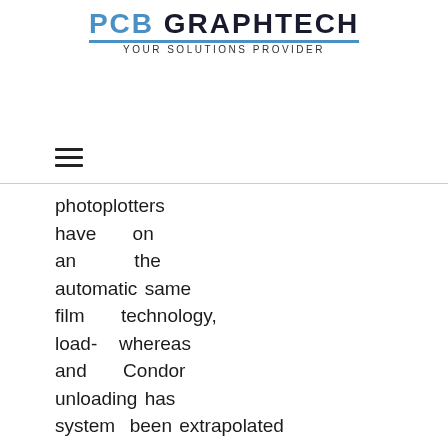PCB GRAPHTECH YOUR SOLUTIONs PROVIDER
photoplotters have an automatic film load- and unloading system as well as an online connection to on the same technology, whereas Condor has been extrapolated to the extra large film format. The